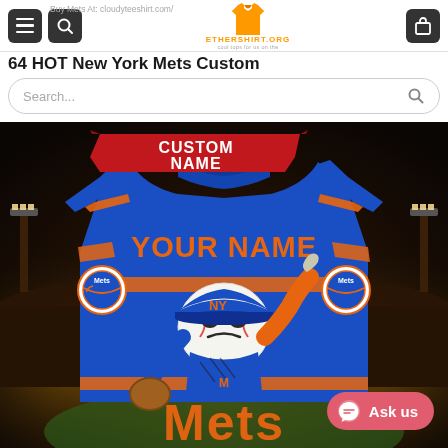ETHERSHIRT.ORG | Buy Mets At: cloudyteeshirt.com/
64 HOT New York Mets Custom
Search...
[Figure (photo): Back view of a royal blue New York Mets custom baseball jersey with orange trim and Mets logos on the sleeves. The jersey shows 'YOUR NAME' on the back in orange letters. A cartoon Mets mascot (angry baseball with cap and glove) is on the jersey. In the upper left is a red banner reading 'CUSTOM NAME'. The background is a stadium scene. At the bottom partially visible is 'Mets' lettering in orange.]
Ask us